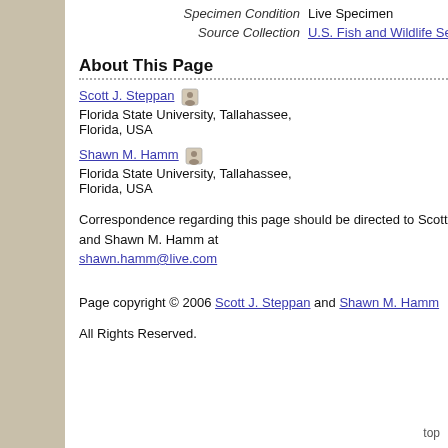| Label | Value |
| --- | --- |
| Specimen Condition | Live Specimen |
| Source Collection | U.S. Fish and Wildlife Service Online Digital Media Library |
About This Page
Scott J. Steppan
Florida State University, Tallahassee, Florida, USA
Shawn M. Hamm
Florida State University, Tallahassee, Florida, USA
Correspondence regarding this page should be directed to Scott J. Steppan at steppan@bio.fsu.edu and Shawn M. Hamm at shawn.hamm@live.com
Page copyright © 2006 Scott J. Steppan and Shawn M. Hamm
All Rights Reserved.